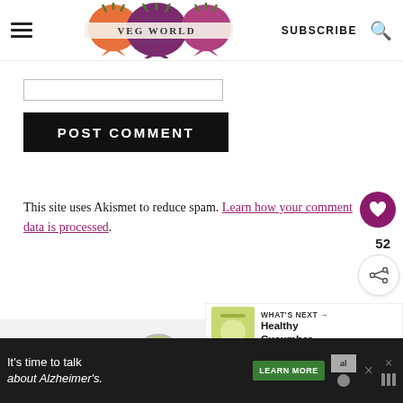VEG WORLD | SUBSCRIBE
[Figure (other): Form input text box]
[Figure (other): POST COMMENT button - black background with white bold text]
This site uses Akismet to reduce spam. Learn how your comment data is processed.
[Figure (other): Heart/like button (magenta circle) with count 52 and share icon]
[Figure (other): What's Next section with cucumber image thumbnail]
[Figure (other): Gray section with circular profile image]
[Figure (other): Ad banner: It's time to talk about Alzheimer's. LEARN MORE button, Alzheimer's association logo]